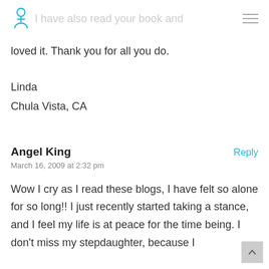I have also read your book and
loved it. Thank you for all you do.
Linda
Chula Vista, CA
Angel King
March 16, 2009 at 2:32 pm
Wow I cry as I read these blogs, I have felt so alone for so long!! I just recently started taking a stance, and I feel my life is at peace for the time being. I don't miss my stepdaughter, because I